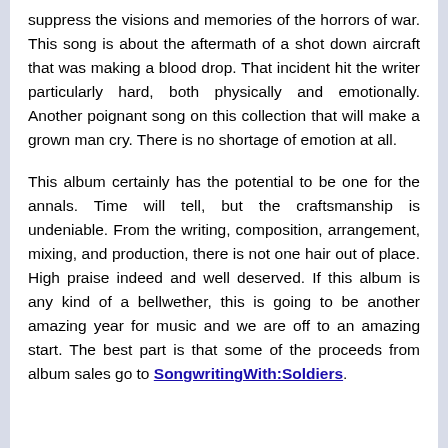suppress the visions and memories of the horrors of war. This song is about the aftermath of a shot down aircraft that was making a blood drop. That incident hit the writer particularly hard, both physically and emotionally. Another poignant song on this collection that will make a grown man cry. There is no shortage of emotion at all.
This album certainly has the potential to be one for the annals. Time will tell, but the craftsmanship is undeniable. From the writing, composition, arrangement, mixing, and production, there is not one hair out of place. High praise indeed and well deserved. If this album is any kind of a bellwether, this is going to be another amazing year for music and we are off to an amazing start. The best part is that some of the proceeds from album sales go to SongwritingWith:Soldiers.